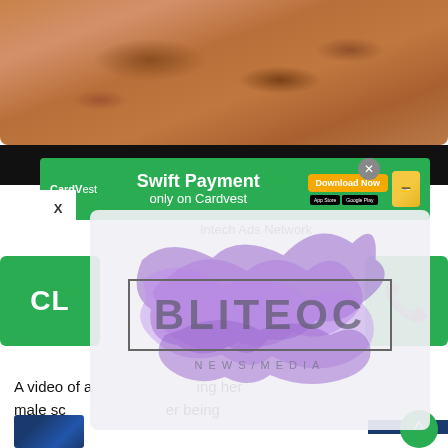[Figure (photo): Sandy/brown terrain photo at top of page, showing rough sandy ground texture]
[Figure (infographic): CardVest green advertisement banner: Swift Payment only on Cardvest, Download Now button, App Store and Google Play buttons, card image]
Intech Ads Network
[Figure (infographic): Green CL button strip on left side]
[Figure (infographic): Green WhatsApp icon button on right side]
A video of a [...]ing her male sch[...] er being shared o[...]
[Figure (photo): Small thumbnail photo at bottom left showing people]
[Figure (logo): BLITEOC NEWS/MEDIA watermark overlay with purple brush stroke background and bordered text box]